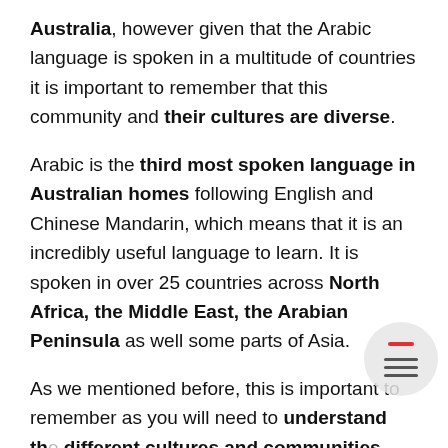Australia, however given that the Arabic language is spoken in a multitude of countries it is important to remember that this community and their cultures are diverse.
Arabic is the third most spoken language in Australian homes following English and Chinese Mandarin, which means that it is an incredibly useful language to learn. It is spoken in over 25 countries across North Africa, the Middle East, the Arabian Peninsula as well some parts of Asia.
As we mentioned before, this is important to remember as you will need to understand the different cultures and communities where this